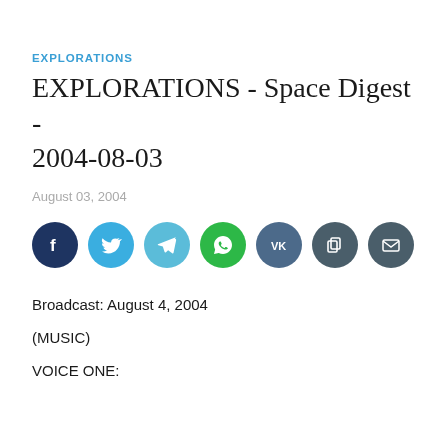EXPLORATIONS
EXPLORATIONS - Space Digest - 2004-08-03
August 03, 2004
[Figure (infographic): Row of seven social sharing icon buttons: Facebook (dark blue), Twitter (light blue), Telegram (medium blue), WhatsApp (green), VK (dark slate), Copy (dark slate), Email (dark slate)]
Broadcast: August 4, 2004
(MUSIC)
VOICE ONE: